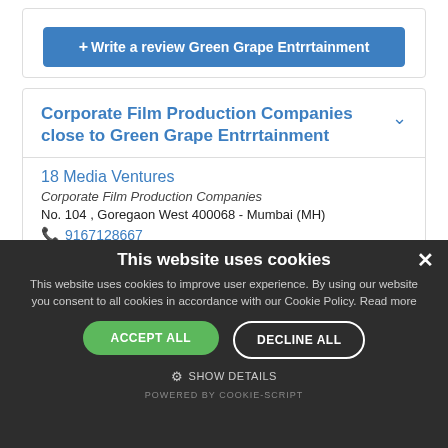+ Write a review Green Grape Entrrtainment
Corporate Film Production Companies close to Green Grape Entrrtainment
18 Media Ventures
Corporate Film Production Companies
No. 104 , Goregaon West 400068 - Mumbai (MH)
9167128667
2 Futuristic Communication
This website uses cookies
This website uses cookies to improve user experience. By using our website you consent to all cookies in accordance with our Cookie Policy. Read more
ACCEPT ALL
DECLINE ALL
SHOW DETAILS
POWERED BY COOKIE-SCRIPT